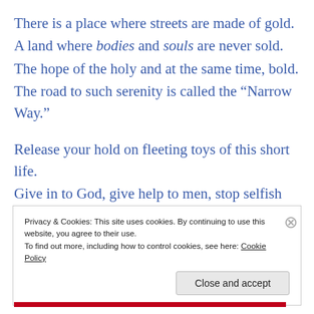There is a place where streets are made of gold.
A land where bodies and souls are never sold.
The hope of the holy and at the same time, bold.
The road to such serenity is called the “Narrow Way.”
Release your hold on fleeting toys of this short life.
Give in to God, give help to men, stop selfish strife.
Take your children, your siblings, your noble wife.
Privacy & Cookies: This site uses cookies. By continuing to use this website, you agree to their use.
To find out more, including how to control cookies, see here: Cookie Policy
Close and accept